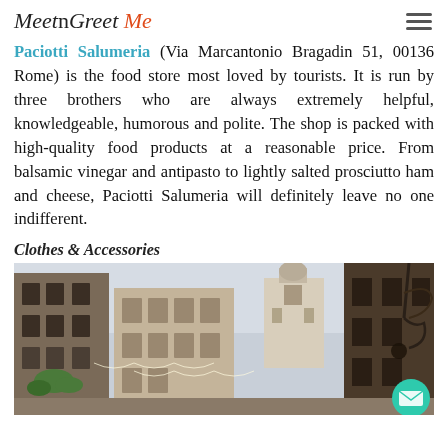MeetnGreetMe
Paciotti Salumeria (Via Marcantonio Bragadin 51, 00136 Rome) is the food store most loved by tourists. It is run by three brothers who are always extremely helpful, knowledgeable, humorous and polite. The shop is packed with high-quality food products at a reasonable price. From balsamic vinegar and antipasto to lightly salted prosciutto ham and cheese, Paciotti Salumeria will definitely leave no one indifferent.
Clothes & Accessories
[Figure (photo): Street view of Rome with historic buildings, a church in the background, and a decorative iron lamp on the right side. A green envelope/chat button is visible in the bottom right corner.]